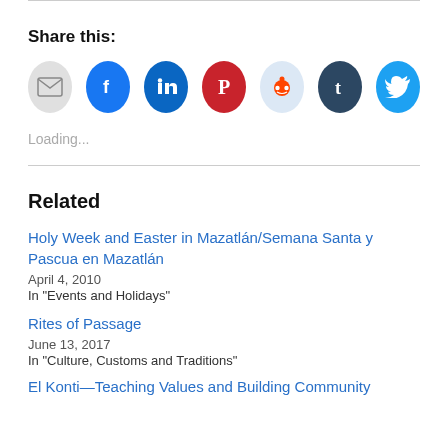Share this:
[Figure (infographic): Row of social media share buttons: email (gray), Facebook (blue), LinkedIn (dark blue), Pinterest (red), Reddit (light blue), Tumblr (dark navy), Twitter (cyan blue)]
Loading...
Related
Holy Week and Easter in Mazatlán/Semana Santa y Pascua en Mazatlán
April 4, 2010
In "Events and Holidays"
Rites of Passage
June 13, 2017
In "Culture, Customs and Traditions"
El Konti—Teaching Values and Building Community